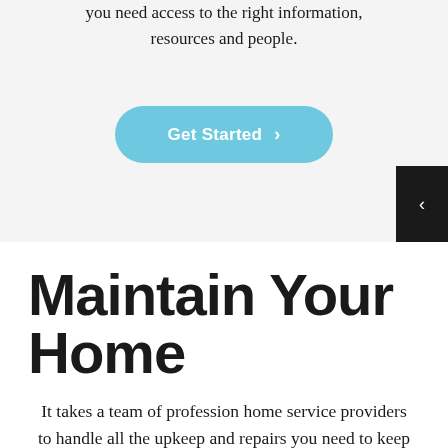you need access to the right information, resources and people.
[Figure (other): Get Started button – a rounded pill-shaped button in light blue with white text 'Get Started' and a right-pointing chevron arrow]
[Figure (other): Dark/black square tab on the right edge with a left-pointing chevron arrow, likely a sidebar toggle]
Maintain Your Home
It takes a team of profession home service providers to handle all the upkeep and repairs you need to keep your home in top condition.